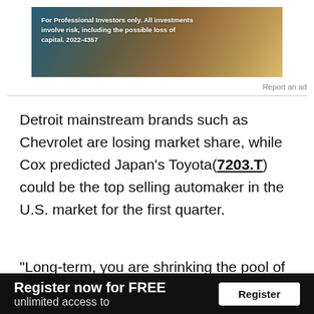[Figure (photo): Advertisement banner image: For Professional Investors only. All investments involve risk, including the possible loss of capital. 2022-4357]
Report an ad
Detroit mainstream brands such as Chevrolet are losing market share, while Cox predicted Japan's Toyota(7203.T) could be the top selling automaker in the U.S. market for the first quarter.
"Long-term, you are shrinking the pool of people who are likely to buy" a new vehicle, said Cox Chief Economist Jonathan Smoke.
Register now for FREE
unlimited access to